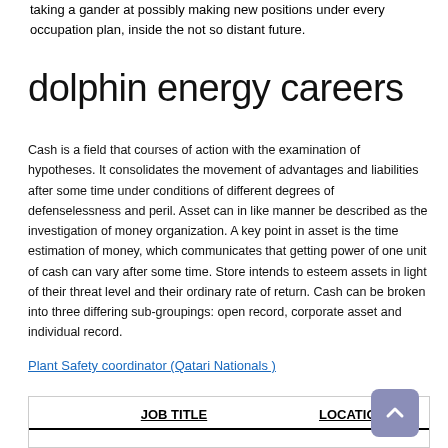taking a gander at possibly making new positions under every occupation plan, inside the not so distant future.
dolphin energy careers
Cash is a field that courses of action with the examination of hypotheses. It consolidates the movement of advantages and liabilities after some time under conditions of different degrees of defenselessness and peril. Asset can in like manner be described as the investigation of money organization. A key point in asset is the time estimation of money, which communicates that getting power of one unit of cash can vary after some time. Store intends to esteem assets in light of their threat level and their ordinary rate of return. Cash can be broken into three differing sub-groupings: open record, corporate asset and individual record.
Plant Safety coordinator (Qatari Nationals )
| JOB TITLE | LOCATION |
| --- | --- |